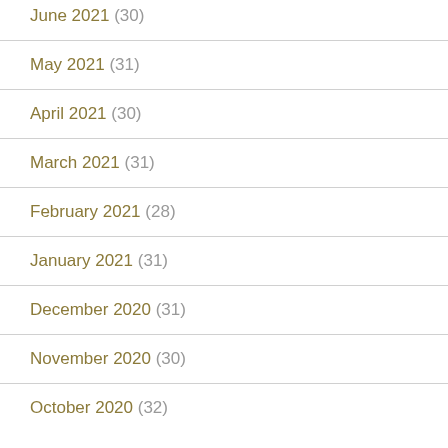June 2021 (30)
May 2021 (31)
April 2021 (30)
March 2021 (31)
February 2021 (28)
January 2021 (31)
December 2020 (31)
November 2020 (30)
October 2020 (32)